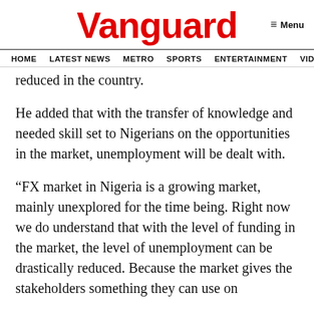Vanguard
HOME  LATEST NEWS  METRO  SPORTS  ENTERTAINMENT  VIDEOS
reduced in the country.
He added that with the transfer of knowledge and needed skill set to Nigerians on the opportunities in the market, unemployment will be dealt with.
“FX market in Nigeria is a growing market, mainly unexplored for the time being. Right now we do understand that with the level of funding in the market, the level of unemployment can be drastically reduced. Because the market gives the stakeholders something they can use on